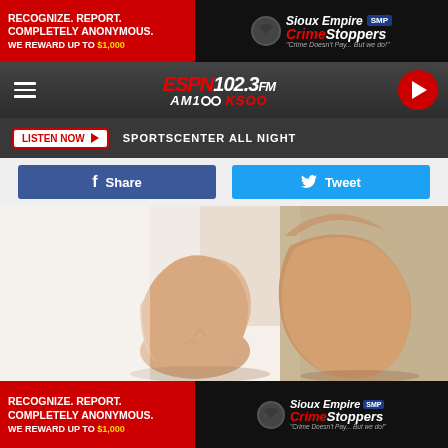[Figure (other): Sioux Empire Crime Stoppers advertisement banner - top. Red left panel: 'RECOGNIZE. REPORT. COMPLETELY ANONYMOUS. WE REWARD UP TO $1,000'. Right panel dark with Crime Stoppers logo and SMP badge.]
[Figure (logo): ESPN 102.3 FM / AM 1000 KSOO radio station navigation bar with hamburger menu and play button]
LISTEN NOW  SPORTSCENTER ALL NIGHT
Share
Tweet
[Figure (photo): Close-up photo of bare human feet/heels against a light background]
[Figure (other): Sioux Empire Crime Stoppers advertisement banner - bottom. Red left panel: 'RECOGNIZE. REPORT. COMPLETELY ANONYMOUS. WE REWARD UP TO $1,000'. Right panel with Crime Stoppers logo.]